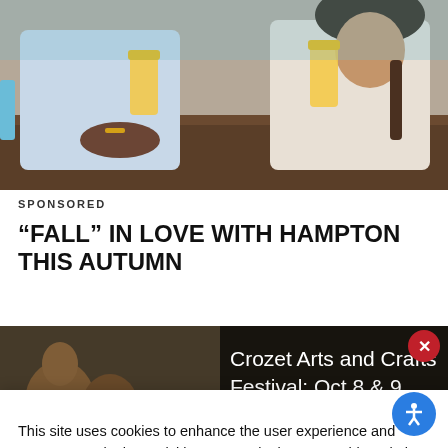[Figure (photo): Two people clinking beer glasses at a bar/restaurant table. One person wearing a light blue shirt with bracelet, another in a white knit sweater.]
SPONSORED
“FALL” IN LOVE WITH HAMPTON THIS AUTUMN
[Figure (photo): Event banner showing pottery/ceramics in background with text: Crozet Arts and Crafts Festival: Oct 8 & 9]
This site uses cookies to enhance the user experience and measure marketing activities. By continuing to use this website, you agree to their use. To find out more, please see our Privacy Policy.
ACCEPT